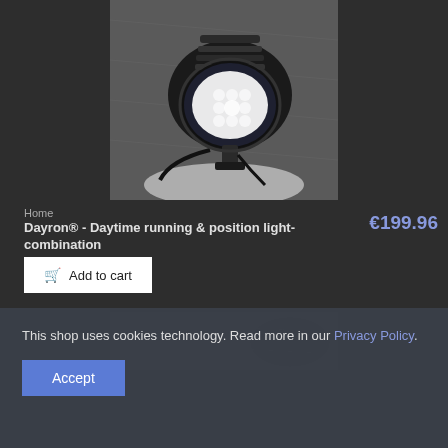[Figure (photo): Black and white photo of an LED daytime running light / position light combination product (Dayron), oval/circular shape with multiple LED elements visible, mounted on a bracket with wiring, glowing brightly on a metallic surface background.]
Home
Dayron® - Daytime running & position light-combination
€199.96
Add to cart
[Figure (photo): Partial view of a second product photo showing a metallic surface, beginning to show another LED light product.]
This shop uses cookies technology. Read more in our Privacy Policy.
Accept